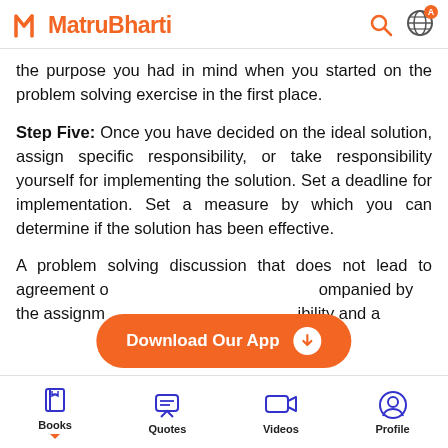MatruBharti
the purpose you had in mind when you started on the problem solving exercise in the first place.
Step Five: Once you have decided on the ideal solution, assign specific responsibility, or take responsibility yourself for implementing the solution. Set a deadline for implementation. Set a measure by which you can determine if the solution has been effective.
A problem solving discussion that does not lead to agreement o...ompanied by the assignm...ibility and a
[Figure (screenshot): Download Our App button overlay in orange with white text and download arrow icon]
Books | Quotes | Videos | Profile